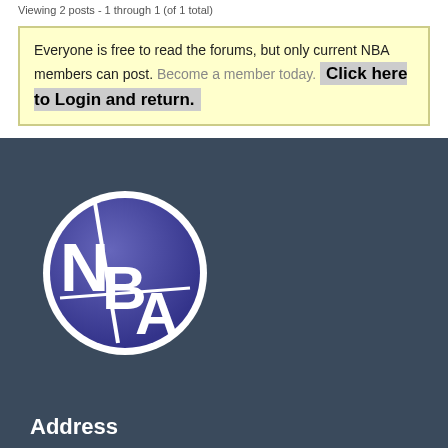Viewing 2 posts - 1 through 1 (of 1 total)
Everyone is free to read the forums, but only current NBA members can post. Become a member today. Click here to Login and return.
[Figure (logo): NBA circular logo with white letters N, B, A on a blue-purple gradient circle with white border]
Address